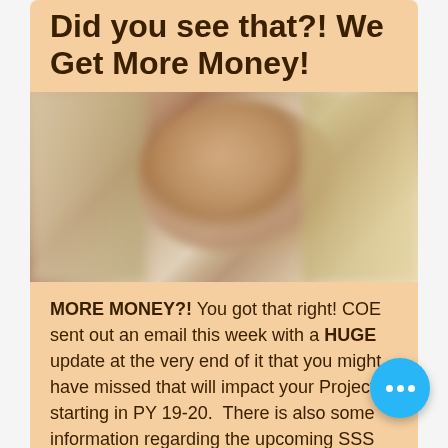Did you see that?! We Get More Money!
[Figure (photo): Blurred close-up photo of a person's face, warm tones, blurred background]
MORE MONEY?! You got that right! COE sent out an email this week with a HUGE update at the very end of it that you might have missed that will impact your Project starting in PY 19-20.  There is also some information regarding the upcoming SSS grant competition.  The